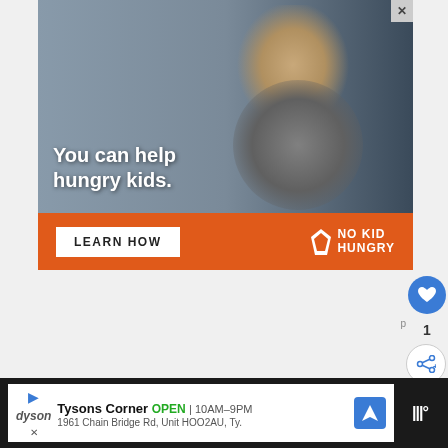[Figure (photo): Advertisement banner showing a young boy eating food with text overlay 'You can help hungry kids.' and a 'LEARN HOW' button with No Kid Hungry logo on an orange bar]
And then she jumped off of a bridge.
[Figure (screenshot): What's Next panel showing 'The Amazing Race' Recap... with gray circle overlay]
[Figure (photo): Video thumbnail showing a dark blue-gray scene]
[Figure (screenshot): Bottom advertisement bar for Dyson Tysons Corner store: OPEN 10AM-9PM, 1961 Chain Bridge Rd, Unit HOO2AU, Ty. with navigation icon and CNN logo]